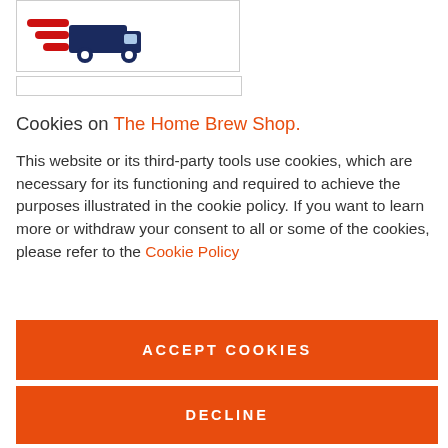[Figure (logo): Delivery truck logo with red speed lines on the left and dark navy truck body — The Home Brew Shop logo icon]
Cookies on The Home Brew Shop.
This website or its third-party tools use cookies, which are necessary for its functioning and required to achieve the purposes illustrated in the cookie policy. If you want to learn more or withdraw your consent to all or some of the cookies, please refer to the Cookie Policy
ACCEPT COOKIES
DECLINE
CUSTOM SETTINGS